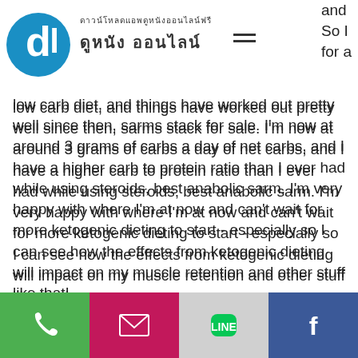ดาวน์โหลดแอพ ดูหนัง ออนไลน์ [header with logo]
and So I for a low carb diet, and things have worked out pretty well since then, sarms stack for sale. I'm now at around 3 grams of carbs a day of net carbs, and I have a higher carb to protein ratio than I ever had while using steroids, best anabolic sarm. I'm very happy with where I'm at now and can't wait for more ketogenic dieting to start - especially so I can see how the effects from ketogenic dieting will impact on my muscle retention and other stuff like that!
-Mark
Thank you very much for your advice and insights - thanks for taking the time to share, sarms triple stack for sale. You really hit the
Phone | Email | Line | Facebook